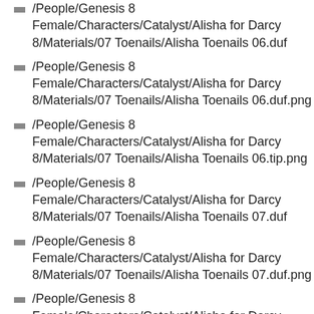/People/Genesis 8 Female/Characters/Catalyst/Alisha for Darcy 8/Materials/07 Toenails/Alisha Toenails 06.duf
/People/Genesis 8 Female/Characters/Catalyst/Alisha for Darcy 8/Materials/07 Toenails/Alisha Toenails 06.duf.png
/People/Genesis 8 Female/Characters/Catalyst/Alisha for Darcy 8/Materials/07 Toenails/Alisha Toenails 06.tip.png
/People/Genesis 8 Female/Characters/Catalyst/Alisha for Darcy 8/Materials/07 Toenails/Alisha Toenails 07.duf
/People/Genesis 8 Female/Characters/Catalyst/Alisha for Darcy 8/Materials/07 Toenails/Alisha Toenails 07.duf.png
/People/Genesis 8 Female/Characters/Catalyst/Alisha for Darcy